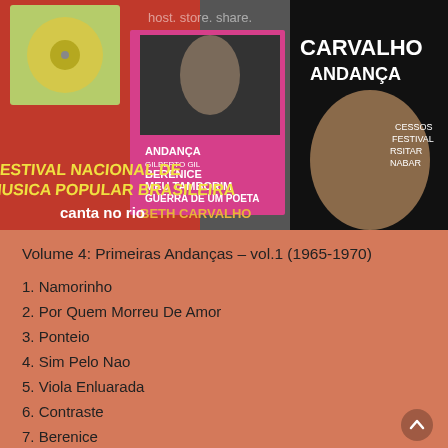[Figure (photo): Collage of album covers featuring Beth Carvalho, including covers reading 'Andança, Berenice, Meu Tamborim, Guerra de um Poeta', 'Beth Carvalho', 'Carvalho Andança', 'Festival Nacional de Musica Popular Brasileira', and other Brazilian music festival records from the 1960s-70s. Watermark text visible: 'host. store. share.']
Volume 4: Primeiras Andanças – vol.1 (1965-1970)
1. Namorinho
2. Por Quem Morreu De Amor
3. Ponteio
4. Sim Pelo Nao
5. Viola Enluarada
6. Contraste
7. Berenice
8. Domingo Antigo